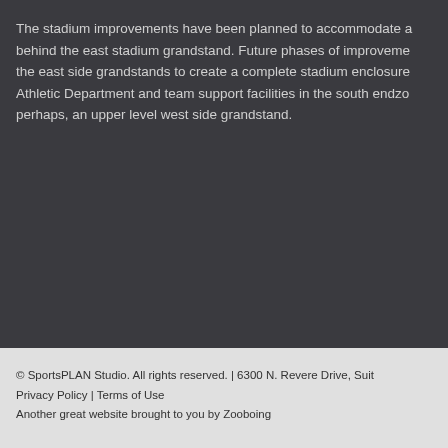The stadium improvements have been planned to accommodate a behind the east stadium grandstand. Future phases of improvement the east side grandstands to create a complete stadium enclosure Athletic Department and team support facilities in the south endzo perhaps, an upper level west side grandstand.
© SportsPLAN Studio. All rights reserved. | 6300 N. Revere Drive, Suit Privacy Policy | Terms of Use Another great website brought to you by Zooboing